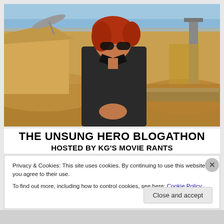[Figure (photo): Woman with red hair and aviator sunglasses wearing a dark jacket, standing outdoors in a desert/arid environment with tents and a satellite dish in the background, blue sky above.]
THE UNSUNG HERO BLOGATHON
HOSTED BY KG'S MOVIE RANTS
Privacy & Cookies: This site uses cookies. By continuing to use this website, you agree to their use.
To find out more, including how to control cookies, see here: Cookie Policy
Close and accept